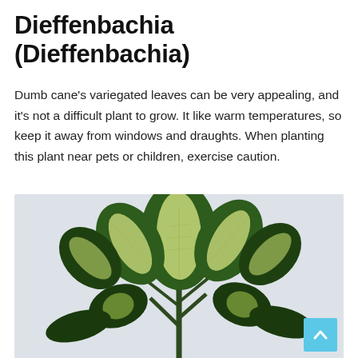Dieffenbachia (Dieffenbachia)
Dumb cane's variegated leaves can be very appealing, and it's not a difficult plant to grow. It like warm temperatures, so keep it away from windows and draughts. When planting this plant near pets or children, exercise caution.
[Figure (photo): Photo of a Dieffenbachia plant with large variegated green and white/yellow leaves on a light grey background]